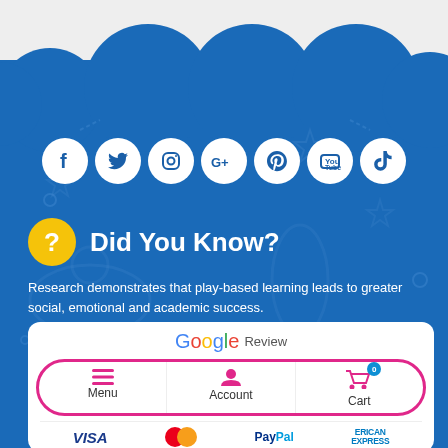[Figure (infographic): Blue scalloped background with decorative space/science icons in lighter blue. Seven social media icons (Facebook, Twitter, Instagram, Google+, Pinterest, YouTube, TikTok) displayed as white circles on blue background.]
Did You Know?
Research demonstrates that play-based learning leads to greater social, emotional and academic success.
[Figure (screenshot): Google Review card with navigation buttons for Menu, Account, and Cart (showing 0 items). Payment logos at bottom: VISA, Mastercard, PayPal, American Express.]